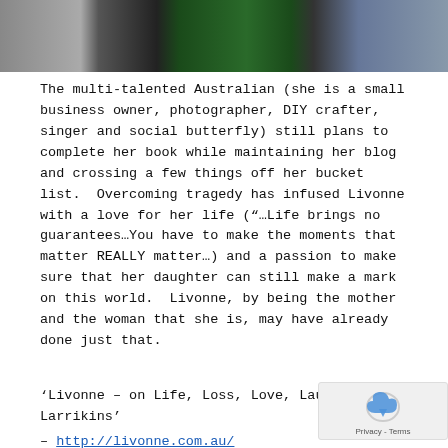[Figure (photo): Top portion of a photo showing people, partially cropped at the top of the page]
The multi-talented Australian (she is a small business owner, photographer, DIY crafter, singer and social butterfly) still plans to complete her book while maintaining her blog and crossing a few things off her bucket list.  Overcoming tragedy has infused Livonne with a love for her life (“…Life brings no guarantees…You have to make the moments that matter REALLY matter…) and a passion to make sure that her daughter can still make a mark on this world.  Livonne, by being the mother and the woman that she is, may have already done just that.
‘Livonne – on Life, Loss, Love, Laughter & Larrikins’ – http://livonne.com.au/
Livonne’s small business: ‘Memories Livonne’ www.memorieslivonne.com.au